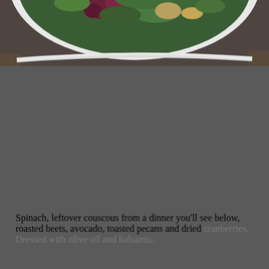[Figure (photo): Partial view of a white bowl containing a salad with green leaves, roasted beets, and other ingredients, placed on a wooden surface. Only the top portion of the bowl is visible.]
Spinach, leftover couscous from a dinner you'll see below, roasted beets, avocado, toasted pecans and dried cranberries. Dressed with olive oil and balsamic.